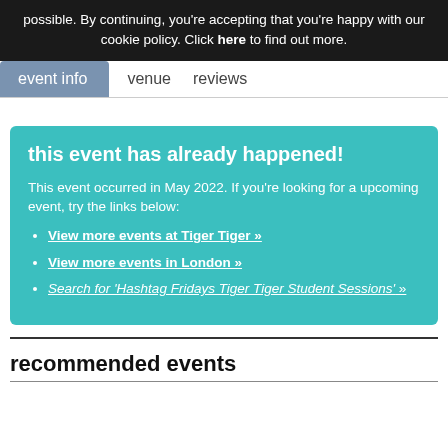possible. By continuing, you're accepting that you're happy with our cookie policy. Click here to find out more.
event info   venue   reviews
this event has already happened!
This event occurred in May 2022. If you're looking for a upcoming event, try the links below:
View more events at Tiger Tiger »
View more events in London »
Search for 'Hashtag Fridays Tiger Tiger Student Sessions' »
recommended events